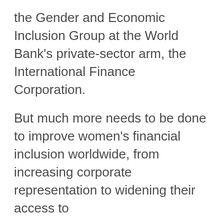the Gender and Economic Inclusion Group at the World Bank's private-sector arm, the International Finance Corporation.
But much more needs to be done to improve women's financial inclusion worldwide, from increasing corporate representation to widening their access to
We use cookies
We use cookies and other tracking technologies to improve your browsing experience on our website, to show you personalized content and targeted ads, to analyze our website traffic, and to understand where our visitors are coming from.